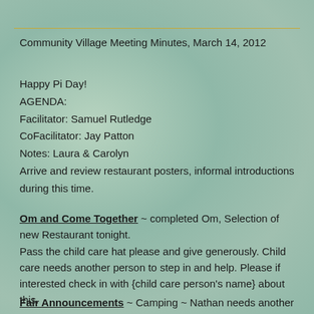Community Village Meeting Minutes, March 14, 2012
Happy Pi Day!
AGENDA:
Facilitator:  Samuel Rutledge
CoFacilitator:  Jay Patton
Notes:  Laura & Carolyn
Arrive and review restaurant posters, informal introductions during this time.
Om and Come Together ~ completed Om, Selection of new Restaurant tonight.
Pass the child care hat please and give generously. Child care needs another person to step in and help. Please if interested check in with {child care person's name} about this.
Fair Announcements ~ Camping ~ Nathan needs another person to